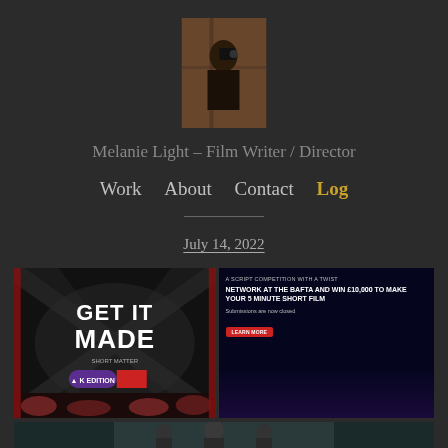[Figure (photo): Profile photo of Melanie Light, a person looking through a camera or peering from a doorway]
Melanie Light – Film Writer / Director
Work  About  Contact  Log
July 14, 2022
[Figure (screenshot): Two side-by-side promotional images: left shows 'GET IT MADE' title card with UK flag design and 'K EDITION' badge; right shows a dark blue screen with text 'A SCRIPT COMPETITION WITH A TWIST', 'NETWORK AT THE BAFTA AND WIN £10,000 TO MAKE YOUR 5 MINUTE SHORT FILM', 'Submissions are now closed', and a red LEARN MORE button]
[Figure (photo): Partial bottom strip showing what appears to be people in a scene, partially cut off]